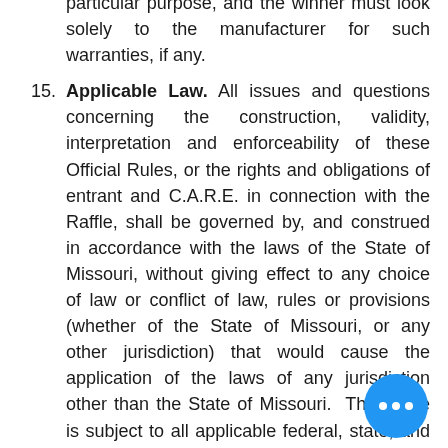particular purpose, and the winner must look solely to the manufacturer for such warranties, if any.
15. Applicable Law. All issues and questions concerning the construction, validity, interpretation and enforceability of these Official Rules, or the rights and obligations of entrant and C.A.R.E. in connection with the Raffle, shall be governed by, and construed in accordance with the laws of the State of Missouri, without giving effect to any choice of law or conflict of law, rules or provisions (whether of the State of Missouri, or any other jurisdiction) that would cause the application of the laws of any jurisdiction other than the State of Missouri.  The Raffle is subject to all applicable federal, state, and local laws, and is void where prohibited or restricted by law. Entrants hold all responsibility to comply with any applicable federal, state, or local laws in connection with their entry.
16. Disputes.  Each entrant agrees that any and all disputes, claims, and causes of action arising out of or in connection with the Raffle shall be resolved